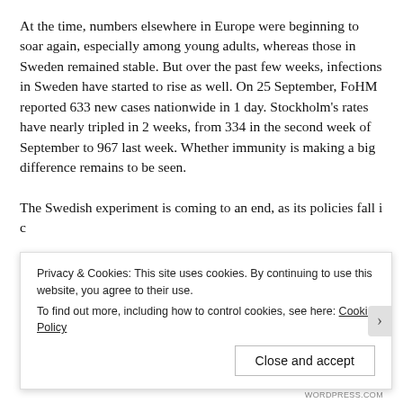At the time, numbers elsewhere in Europe were beginning to soar again, especially among young adults, whereas those in Sweden remained stable. But over the past few weeks, infections in Sweden have started to rise as well. On 25 September, FoHM reported 633 new cases nationwide in 1 day. Stockholm's rates have nearly tripled in 2 weeks, from 334 in the second week of September to 967 last week. Whether immunity is making a big difference remains to be seen.
The Swedish experiment is coming to an end, as its policies fall i... c...
Privacy & Cookies: This site uses cookies. By continuing to use this website, you agree to their use.
To find out more, including how to control cookies, see here: Cookie Policy
Close and accept